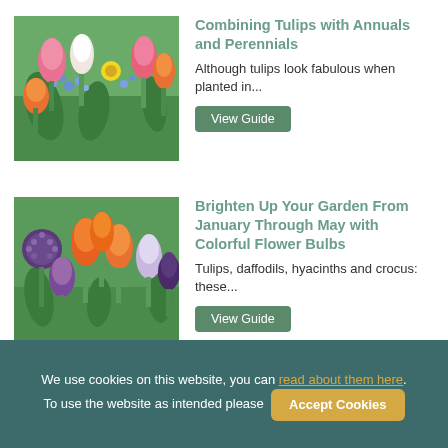[Figure (photo): Photo of colorful tulips and blue flowers in a garden setting, showing pink, white, and orange tulips with blue forget-me-nots]
Combining Tulips with Annuals and Perennials
Although tulips look fabulous when planted in...
View Guide
[Figure (photo): Photo of vibrant orange, purple, and white tulips and dark purple allium flowers in a spring garden]
Brighten Up Your Garden From January Through May with Colorful Flower Bulbs
Tulips, daffodils, hyacinths and crocus: these...
View Guide
We use cookies on this website, you can read about them here. To use the website as intended please
Accept Cookies